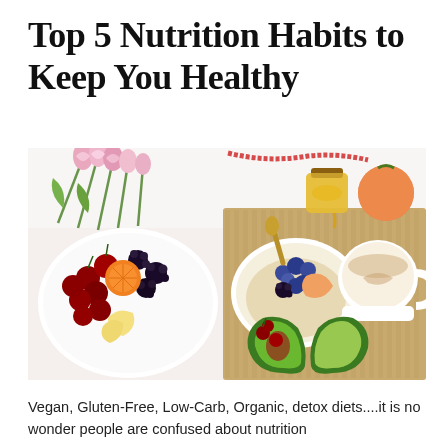Top 5 Nutrition Habits to Keep You Healthy
[Figure (photo): Overhead flat-lay photo of healthy foods: a plate of mixed fruits including cherries, blackberries, oranges, apples, and radishes; a wooden board with a bowl of oatmeal topped with blueberries, blackberries, and peach slices, a mug of hot drink, and halved avocado; pink tulips in the upper left corner; a jar of honey and a peach in the upper right corner.]
Vegan, Gluten-Free, Low-Carb, Organic, detox diets....it is no wonder people are confused about nutrition